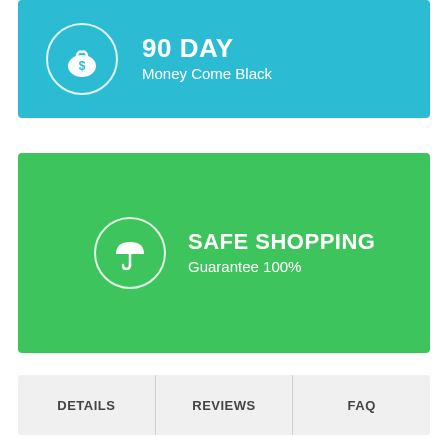[Figure (infographic): Cyan banner with money bag icon in white circle, text '90 DAY' large bold and 'Money Come Black' below]
[Figure (infographic): Green banner with umbrella icon in white circle, text 'SAFE SHOPPING' large bold and 'Guarantee 100%' below]
DETAILS | REVIEWS | FAQ
DETAILS